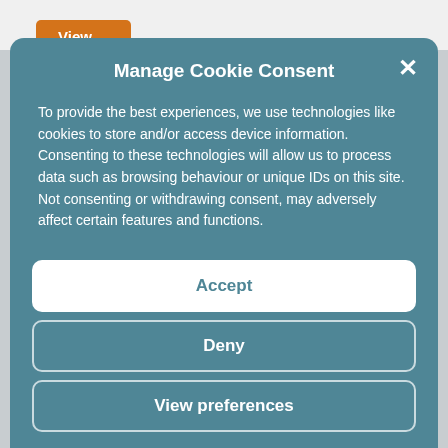[Figure (screenshot): Orange 'View Project' button visible behind cookie consent modal]
Manage Cookie Consent
To provide the best experiences, we use technologies like cookies to store and/or access device information. Consenting to these technologies will allow us to process data such as browsing behaviour or unique IDs on this site. Not consenting or withdrawing consent, may adversely affect certain features and functions.
Accept
Deny
View preferences
Cookie policy   Privacy Policy